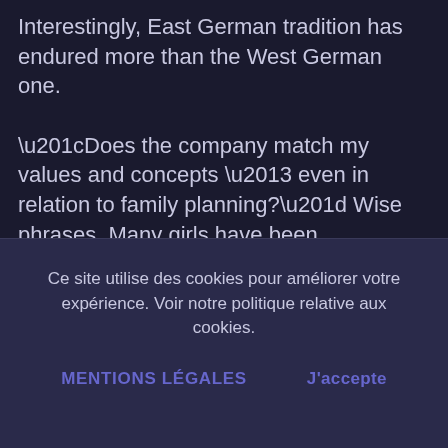Interestingly, East German tradition has endured more than the West German one.

“Does the company match my values and concepts – even in relation to family planning?” Wise phrases. Many girls have been superficially mothers, but they’d forgotten to subordinate themselves to the regulation of life, which sees the affirmation of a child as the answer of the
Ce site utilise des cookies pour améliorer votre expérience. Voir notre politique relative aux cookies.
MENTIONS LÉGALES     J’accepte